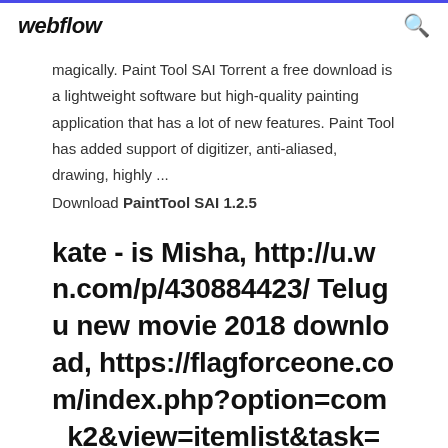webflow
magically. Paint Tool SAI Torrent a free download is a lightweight software but high-quality painting application that has a lot of new features. Paint Tool has added support of digitizer, anti-aliased, drawing, highly ...
Download PaintTool SAI 1.2.5
kate - is Misha, http://u.wn.com/p/430884423/ Telugu new movie 2018 download, https://flagforceone.com/index.php?option=com_k2&view=itemlist&task=u